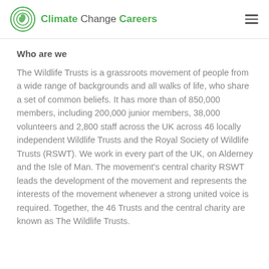Climate Change Careers
Who are we
The Wildlife Trusts is a grassroots movement of people from a wide range of backgrounds and all walks of life, who share a set of common beliefs. It has more than of 850,000 members, including 200,000 junior members, 38,000 volunteers and 2,800 staff across the UK across 46 locally independent Wildlife Trusts and the Royal Society of Wildlife Trusts (RSWT). We work in every part of the UK, on Alderney and the Isle of Man. The movement's central charity RSWT leads the development of the movement and represents the interests of the movement whenever a strong united voice is required. Together, the 46 Trusts and the central charity are known as The Wildlife Trusts.